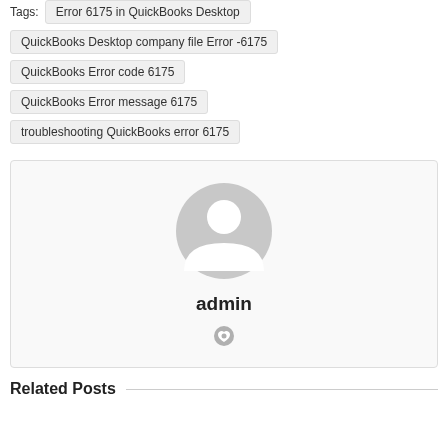Tags: Error 6175 in QuickBooks Desktop
QuickBooks Desktop company file Error -6175
QuickBooks Error code 6175
QuickBooks Error message 6175
troubleshooting QuickBooks error 6175
[Figure (illustration): Author box with a generic grey avatar icon, bold text 'admin', and a small grey heart/link icon below]
Related Posts